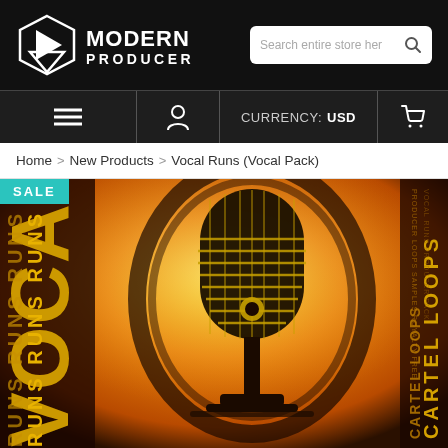[Figure (logo): Modern Producers logo - white geometric play button icon with text MODERN PRODUCERS]
Search entire store here
≡  👤  CURRENCY: USD  🛒
Home > New Products > Vocal Runs (Vocal Pack)
[Figure (photo): Vocal Runs vocal pack product image - orange/yellow background with large retro microphone, text VOCAL RUNS RUNS RUNS on left side vertically, CARTEL LOOPS text on right side vertically, SALE badge in top left corner]